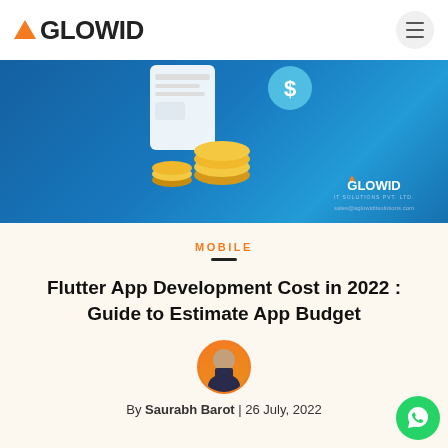AGLOWID
[Figure (illustration): Hero banner with blue gradient background showing a mobile phone with coins and financial UI elements, AGLOWID logo and sales@aglowiditsolutions.com email in bottom right]
MOBILE
Flutter App Development Cost in 2022 : Guide to Estimate App Budget
[Figure (photo): Round author avatar photo of Saurabh Barot on orange circle background]
By Saurabh Barot  |  26 July, 2022